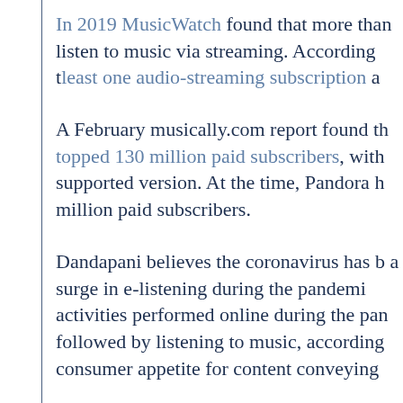In 2019 MusicWatch found that more than listen to music via streaming. According to least one audio-streaming subscription a
A February musically.com report found th topped 130 million paid subscribers, with supported version. At the time, Pandora h million paid subscribers.
Dandapani believes the coronavirus has b a surge in e-listening during the pandemi activities performed online during the pan followed by listening to music, according consumer appetite for content conveying
Content is obviously important, but with e